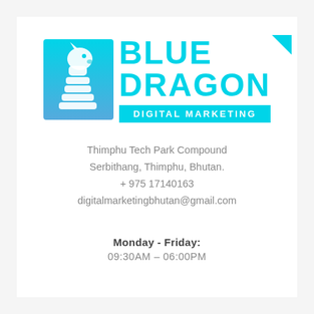[Figure (logo): Blue Dragon Digital Marketing logo: a cyan/teal chess knight piece icon on a gradient blue-to-cyan square background on the left, with bold cyan text 'BLUE' and 'DRAGON' on the right, and a cyan rectangle banner below reading 'DIGITAL MARKETING'. A small cyan corner triangle accent in the top right.]
Thimphu Tech Park Compound
Serbithang, Thimphu, Bhutan.
+ 975 17140163
digitalmarketingbhutan@gmail.com
Monday - Friday:
09:30AM – 06:00PM